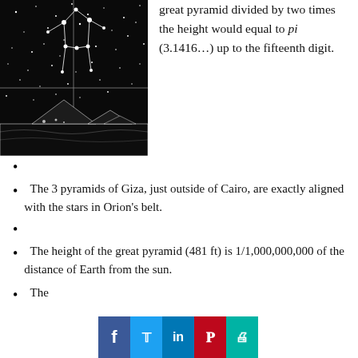[Figure (photo): Black and white image showing a night sky with stars and a constellation outline (Orion figure visible), with pyramids silhouetted at the bottom.]
great pyramid divided by two times the height would equal to pi (3.1416...) up to the fifteenth digit.
The 3 pyramids of Giza, just outside of Cairo, are exactly aligned with the stars in Orion's belt.
The height of the great pyramid (481 ft) is 1/1,000,000,000 of the distance of Earth from the sun.
The...